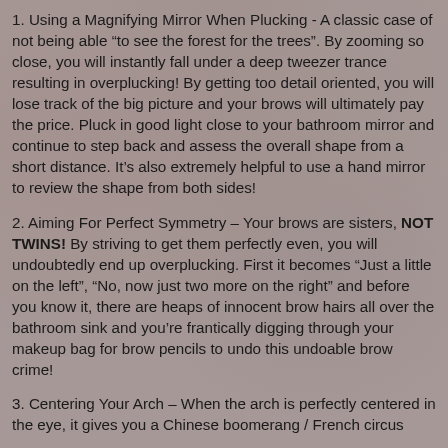1. Using a Magnifying Mirror When Plucking - A classic case of not being able “to see the forest for the trees”. By zooming so close, you will instantly fall under a deep tweezer trance resulting in overplucking! By getting too detail oriented, you will lose track of the big picture and your brows will ultimately pay the price. Pluck in good light close to your bathroom mirror and continue to step back and assess the overall shape from a short distance. It’s also extremely helpful to use a hand mirror to review the shape from both sides!
2. Aiming For Perfect Symmetry – Your brows are sisters, NOT TWINS! By striving to get them perfectly even, you will undoubtedly end up overplucking. First it becomes “Just a little on the left”, “No, now just two more on the right” and before you know it, there are heaps of innocent brow hairs all over the bathroom sink and you’re frantically digging through your makeup bag for brow pencils to undo this undoable brow crime!
3. Centering Your Arch – When the arch is perfectly centered in the eye, it gives you a Chinese boomerang / French circus